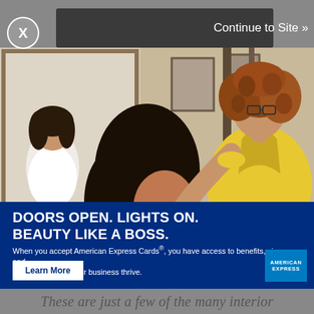[Figure (screenshot): Advertisement overlay on a webpage showing a hair salon scene. A hairstylist in a yellow shirt with curly hair styles the dark hair of a seated client using a blow dryer. In the background, a woman in a white top is reflected in a mirror. The scene is in a salon with framed pictures on the wall.]
DOORS OPEN. LIGHTS ON. BEAUTY LIKE A BOSS.
When you accept American Express Cards®, you have access to benefits, signage, and materials to help your business thrive.
Learn More
These are just a few of the many interior